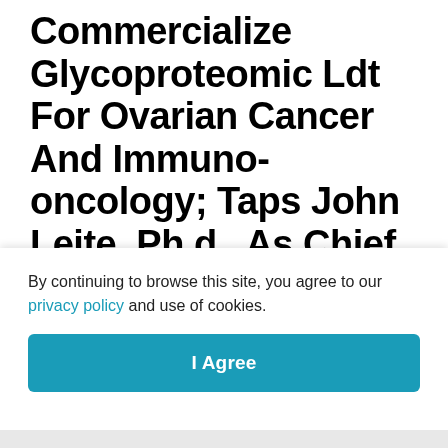Commercialize Glycoproteomic Ldt For Ovarian Cancer And Immuno-oncology; Taps John Leite, Ph.d., As Chief Business Officer | Business Wire
By continuing to browse this site, you agree to our privacy policy and use of cookies.